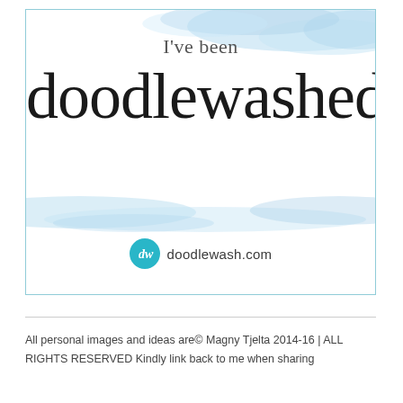[Figure (illustration): A badge/certificate graphic with watercolor blue brushstrokes at top and bottom. Text reads 'I've been doodlewashed!' in script font, with doodlewash.com logo below.]
All personal images and ideas are© Magny Tjelta 2014-16 | ALL RIGHTS RESERVED Kindly link back to me when sharing